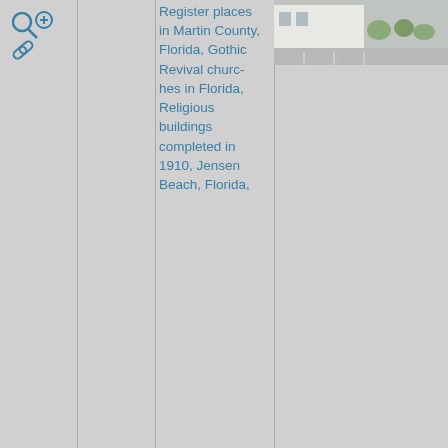[Figure (other): Search icon and plus icon at top left, with a link/chain icon below]
Register places in Martin County, Florida, Gothic Revival churches in Florida, Religious buildings completed in 1910, Jensen Beach, Florida,
[Figure (photo): Photograph of a building exterior with a parking lot, white building facade and pavement visible]